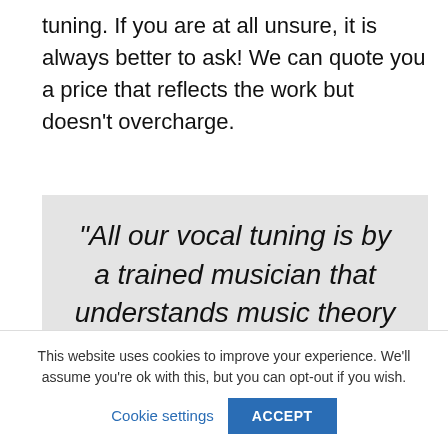tuning.  If you are at all unsure, it is always better to ask!  We can quote you a price that reflects the work but doesn't overcharge.
[Figure (other): Grey quote box with italic text: “All our vocal tuning is by a trained musician that understands music theory”]
This website uses cookies to improve your experience. We'll assume you're ok with this, but you can opt-out if you wish.